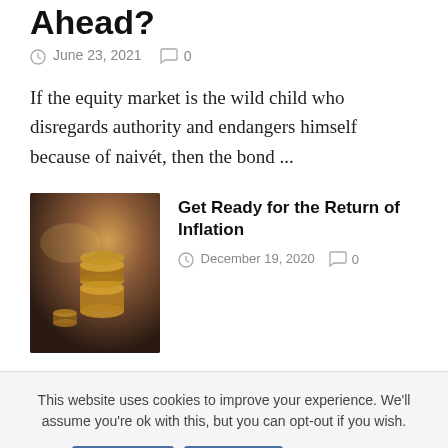Ahead?
June 23, 2021   0
If the equity market is the wild child who disregards authority and endangers himself because of naiveté, then the bond ...
Get Ready for the Return of Inflation
December 19, 2020   0
[Figure (photo): Stack of coins on a dark surface, warm orange tones]
This website uses cookies to improve your experience. We'll assume you're ok with this, but you can opt-out if you wish. Accept Reject Read More